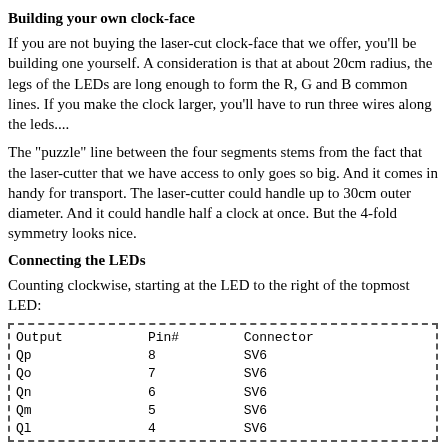Building your own clock-face
If you are not buying the laser-cut clock-face that we offer, you'll be building one yourself. A consideration is that at about 20cm radius, the legs of the LEDs are long enough to form the R, G and B common lines. If you make the clock larger, you'll have to run three wires along the leds....
The "puzzle" line between the four segments stems from the fact that the laser-cutter that we have access to only goes so big. And it comes in handy for transport. The laser-cutter could handle up to 30cm outer diameter. And it could handle half a clock at once. But the 4-fold symmetry looks nice.
Connecting the LEDs
Counting clockwise, starting at the LED to the right of the topmost LED:
| Output | Pin# | Connector |
| --- | --- | --- |
| Qp | 8 | SV6 |
| Qo | 7 | SV6 |
| Qn | 6 | SV6 |
| Qm | 5 | SV6 |
| Ql | 4 | SV6 |